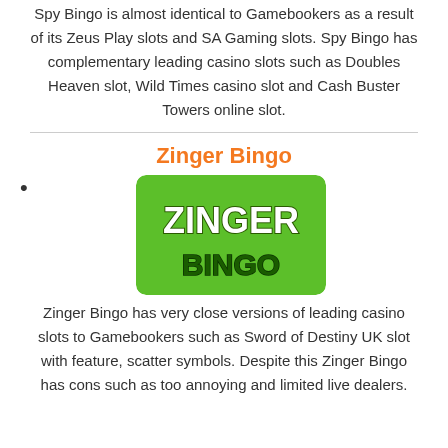Spy Bingo is almost identical to Gamebookers as a result of its Zeus Play slots and SA Gaming slots. Spy Bingo has complementary leading casino slots such as Doubles Heaven slot, Wild Times casino slot and Cash Buster Towers online slot.
Zinger Bingo
[Figure (logo): Zinger Bingo logo — green background with white and dark green text reading ZINGER BINGO]
Zinger Bingo has very close versions of leading casino slots to Gamebookers such as Sword of Destiny UK slot with feature, scatter symbols. Despite this Zinger Bingo has cons such as too annoying and limited live dealers.